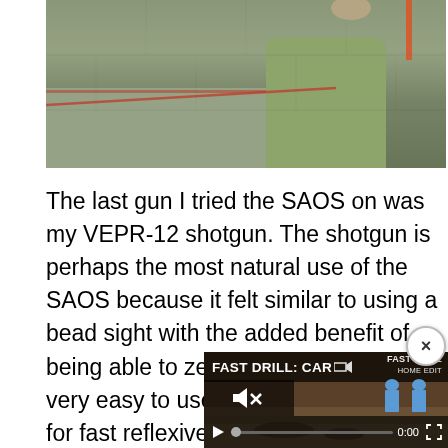[Figure (photo): Top portion of a photo showing a person in a green/olive shirt at what appears to be an outdoor shooting range, with a concrete or stone floor visible. A red diagonal line is visible across the image.]
The last gun I tried the SAOS on was my VEPR-12 shotgun. The shotgun is perhaps the most natural use of the SAOS because it felt similar to using a bead sight with the added benefit of being able to zero it. The SAOS was very easy to use with both eyes open for fast reflexive shooting.
[Figure (screenshot): An embedded video player showing a 'FAST DRILL: CAR...' video with a dark outdoor shooting scene, blue silhouette targets visible on the right, volume muted icon, play button, progress bar at 0:00, and fullscreen button.]